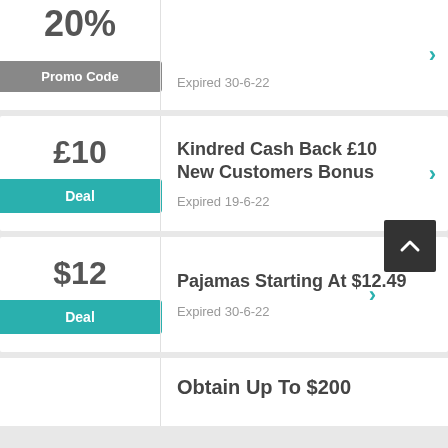20%
Promo Code
20% on selected items
Expired 30-6-22
£10
Deal
Kindred Cash Back £10 New Customers Bonus
Expired 19-6-22
$12
Deal
Pajamas Starting At $12.49
Expired 30-6-22
Obtain Up To $200